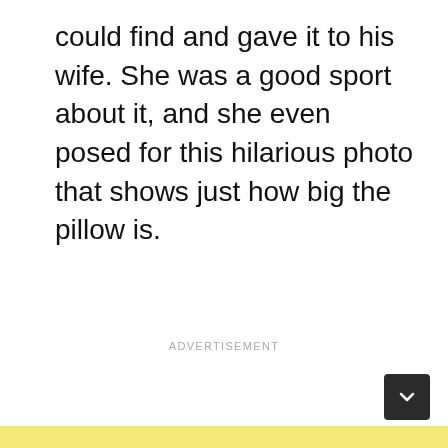could find and gave it to his wife. She was a good sport about it, and she even posed for this hilarious photo that shows just how big the pillow is.
ADVERTISEMENT